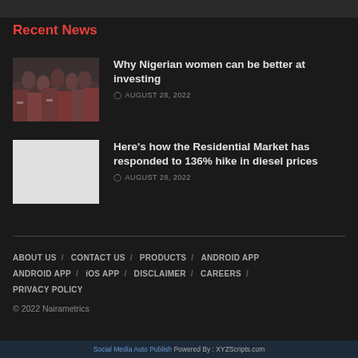Recent News
[Figure (photo): Group of Nigerian women at an event]
Why Nigerian women can be better at investing
AUGUST 28, 2022
[Figure (photo): White/blank placeholder image]
Here's how the Residential Market has responded to 136% hike in diesel prices
AUGUST 28, 2022
ABOUT US / CONTACT US / PRODUCTS / ANDROID APP / iOS APP / DISCLAIMER / CAREERS / PRIVACY POLICY
© 2022 Nairametrics
Social Media Auto Publish Powered By : XYZScripts.com